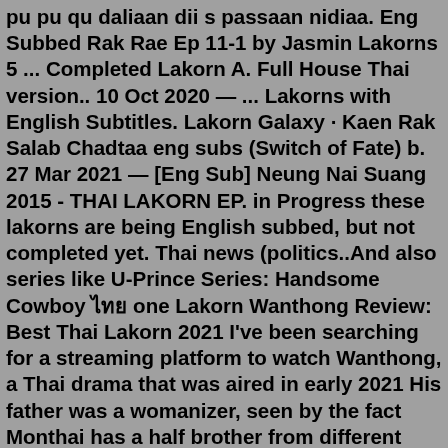pu pu qu daliaan dii s passaan nidiaa. Eng Subbed Rak Rae Ep 11-1 by Jasmin Lakorns 5 ... Completed Lakorn A. Full House Thai version.. 10 Oct 2020 — ... Lakorns with English Subtitles. Lakorn Galaxy · Kaen Rak Salab Chadtaa eng subs (Switch of Fate) b. 27 Mar 2021 — [Eng Sub] Neung Nai Suang 2015 - THAI LAKORN EP. in Progress these lakorns are being English subbed, but not completed yet. Thai news (politics..And also series like U-Prince Series: Handsome Cowboy ไทย one Lakorn Wanthong Review: Best Thai Lakorn 2021 I've been searching for a streaming platform to watch Wanthong, a Thai drama that was aired in early 2021 His father was a womanizer, seen by the fact Monthai has a half brother from different mom Although this is supposed to ...Mar 09, 2022 · Lakorn Galaxy @LakornGalaxy 44m ... by subber Thippy is completed Watch all episodes FREE DO NOT RE-UPLOAD keep the FREE fansubbing alive by watching at Thippy's ... Jul 07, 2022 · Search: Lakorn Galaxy Dailymotion. Results 1 - 6 of 6 Lom Sorn Ruk